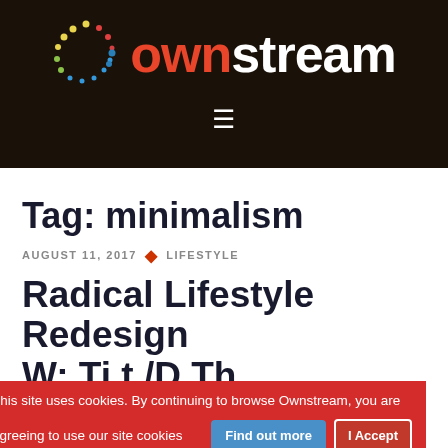[Figure (logo): Ownstream logo: colorful dotted circle on the left, 'own' in red/orange and 'stream' in white bold text on dark background, with hamburger menu icon below]
Tag: minimalism
AUGUST 11, 2017 · LIFESTYLE
Radical Lifestyle Redesign W: Ti t /D Th
This site uses cookies. By continuing to browse Ownstream, you are agreeing to use our site cookies Find out more I Accept